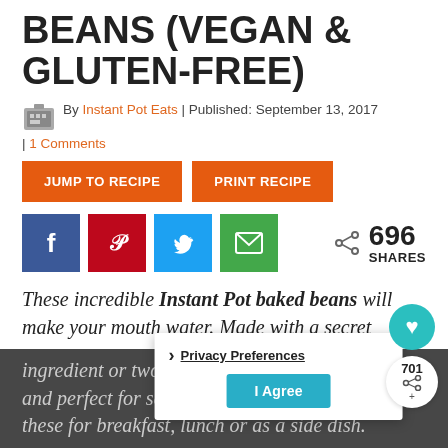BEANS (VEGAN & GLUTEN-FREE)
By Instant Pot Eats | Published: September 13, 2017
| 1 Comments
JUMP TO RECIPE   PRINT RECIPE
696 SHARES
These incredible Instant Pot baked beans will make your mouth water. Made with a secret ingredient or two, they are vegan and gluten-free and perfect for serving on the weekend. Enjoy these for breakfast, lunch or as a side dish.
Privacy Preferences  I Agree
701